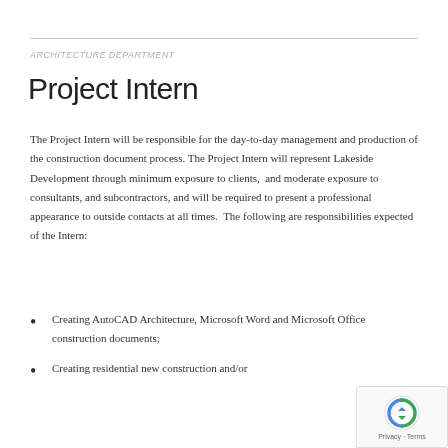ARCHITECTURE DEPARTMENT
Project Intern
The Project Intern will be responsible for the day-to-day management and production of the construction document process. The Project Intern will represent Lakeside Development through minimum exposure to clients,  and moderate exposure to consultants, and subcontractors, and will be required to present a professional appearance to outside contacts at all times.  The following are responsibilities expected of the Intern:
Creating AutoCAD Architecture, Microsoft Word and Microsoft Office construction documents;
Creating residential new construction and/or